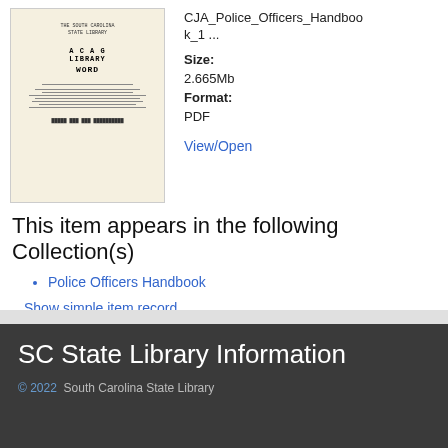[Figure (illustration): Thumbnail image of a document cover with 'ACAG Library' text visible, on aged yellowish background]
CJA_Police_Officers_Handbook_1 ...
Size:
2.665Mb
Format:
PDF
View/Open
This item appears in the following Collection(s)
Police Officers Handbook
Show simple item record
SC State Library Information
© 2022  South Carolina State Library